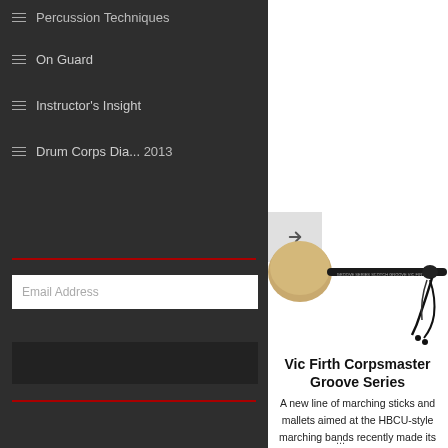Percussion Techniques
On Guard
Instructor's Insight
Drum Corps Dia... 2013
Email Address
[Figure (photo): A Vic Firth Corpsmaster Groove Series mallet with rounded felt head on a black handle, with a lanyard/tassel at the end. The handle reads 'GROOVE SERIES SCOTCH GROOVE VIC FIRTH'.]
Vic Firth Corpsmaster Groove Series
A new line of marching sticks and mallets aimed at the HBCU-style marching bands recently made its debut, just in time for this year's Honda ...